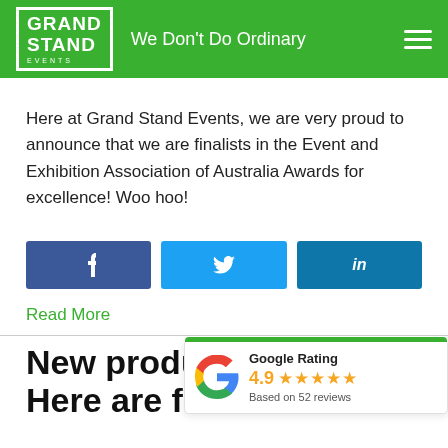GRAND STAND EVENTS — We Don't Do Ordinary
Here at Grand Stand Events, we are very proud to announce that we are finalists in the Event and Exhibition Association of Australia Awards for excellence! Woo hoo!
[Figure (infographic): Social share buttons: Facebook (f), Twitter (bird icon), LinkedIn (in)]
Read More
New product... Here are five
[Figure (infographic): Google Rating widget showing 4.9 stars based on 52 reviews]